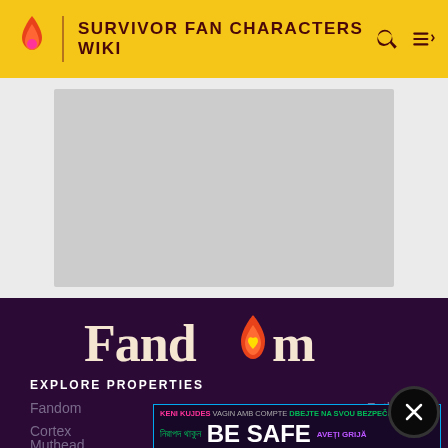SURVIVOR FAN CHARACTERS WIKI
[Figure (screenshot): Gray image placeholder rectangle]
[Figure (logo): Fandom logo in cream/white text with flame icon containing heart, on dark purple background]
EXPLORE PROPERTIES
Fandom   Futhead
Cortex   Muthead
[Figure (infographic): Safety banner with multilingual 'BE SAFE' message in various colors and languages including Bengali, Catalan, Czech, Estonian, French, Norwegian, Dutch, Romanian, Spanish]
Muthead